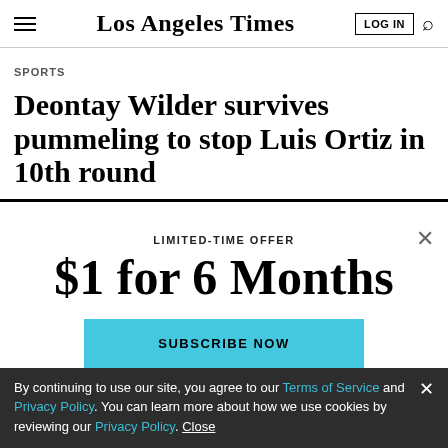Los Angeles Times
SPORTS
Deontay Wilder survives pummeling to stop Luis Ortiz in 10th round
LIMITED-TIME OFFER
$1 for 6 Months
SUBSCRIBE NOW
By continuing to use our site, you agree to our Terms of Service and Privacy Policy. You can learn more about how we use cookies by reviewing our Privacy Policy. Close